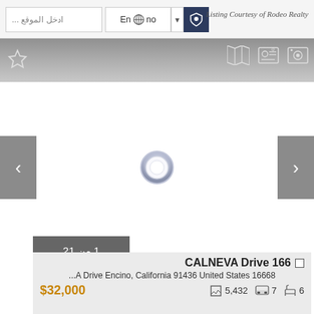ادخل الموقع...
Encino
Listing Courtesy of Rodeo Realty
[Figure (screenshot): Real estate website screenshot showing a property image loading area with navigation arrows, a loading spinner, toolbar with star/map/contact/photo icons, counter badge '1 من 21', and property card for CALNEVA Drive 166, Encino California 91436 United States 16668, priced at $32,000 with 5,432 sqft, 7 rooms, 6 baths]
1 من 21
CALNEVA Drive 166
...A Drive Encino, California 91436 United States 16668
$32,000
5,432
7
6